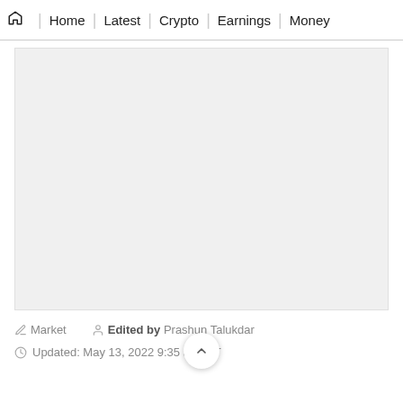Home | Latest | Crypto | Earnings | Money
[Figure (other): Gray placeholder image area for an article image]
Market   Edited by Prashun Talukdar
Updated: May 13, 2022 9:35 am IST